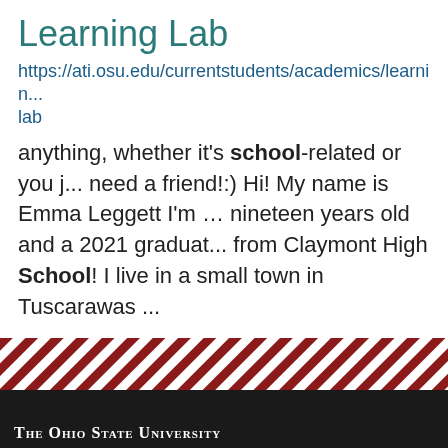Learning Lab
https://ati.osu.edu/currentstudents/academics/learning-lab
anything, whether it's school-related or you just need a friend!:) Hi! My name is Emma Leggett I'm ... nineteen years old and a 2021 graduate from Claymont High School! I live in a small town in Tuscarawas ...
Pagination: 1 2 3 4 5 6 7 8 9 ... next › last »
[Figure (other): Ohio State University footer with diagonal red and white stripe pattern and dark footer bar with 'The Ohio State University' text]